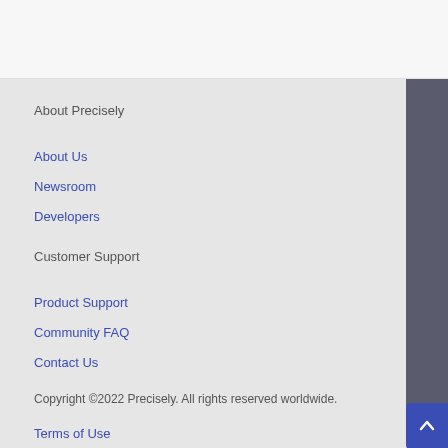About Precisely
About Us
Newsroom
Developers
Customer Support
Product Support
Community FAQ
Contact Us
Copyright ©2022 Precisely. All rights reserved worldwide.
Terms of Use
Privacy Policy